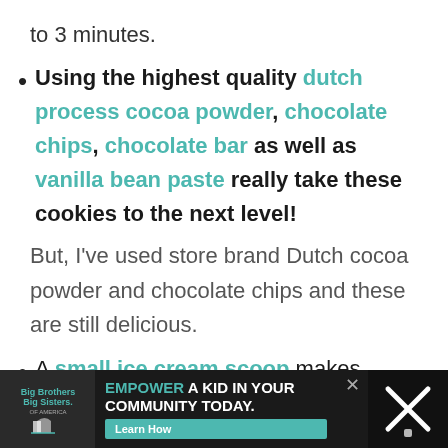to 3 minutes.
Using the highest quality dutch process cocoa powder, chocolate chips, chocolate bar as well as vanilla bean paste really take these cookies to the next level!
But, I've used store brand Dutch cocoa powder and chocolate chips and these are still delicious.
A small ice cream scoop makes
[Figure (other): Advertisement banner: Big Brothers Big Sisters logo on left, 'EMPOWER A KID IN YOUR COMMUNITY TODAY.' text in center with Learn How button, and a cross/thermometer icon on right.]